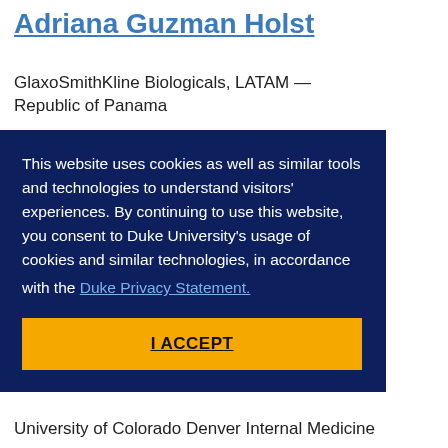Adriana Guzman Holst
GlaxoSmithKline Biologicals, LATAM — Republic of Panama
[Figure (photo): Profile photo placeholder showing a grey circular silhouette on a light grey background]
This website uses cookies as well as similar tools and technologies to understand visitors' experiences. By continuing to use this website, you consent to Duke University's usage of cookies and similar technologies, in accordance with the Duke Privacy Statement.
I ACCEPT
University of Colorado Denver Internal Medicine